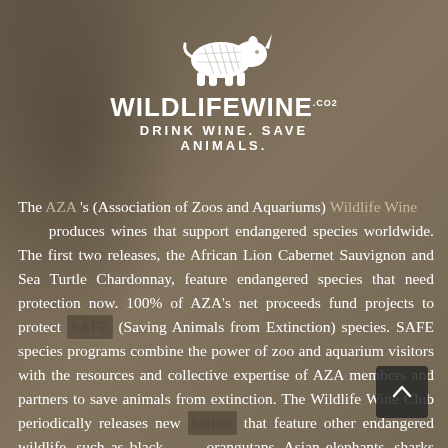[Figure (logo): Wildlife Wine logo with white rhino illustration above the brand name WILDLIFEWINE with small .CO2 superscript, and tagline DRINK WINE. SAVE ANIMALS.]
The AZA's (Association of Zoos and Aquariums) Wildlife Wine produces wines that support endangered species worldwide. The first two releases, the African Lion Cabernet Sauvignon and Sea Turtle Chardonnay, feature endangered species that need protection now. 100% of AZA's net proceeds fund projects to protect SAFE (Saving Animals from Extinction) species. SAFE species programs combine the power of zoo and aquarium visitors with the resources and collective expertise of AZA members and partners to save animals from extinction. The Wildlife Wine Club periodically releases new bottles that feature other endangered wildlife, such as black rhinos, orangutans, Asian elephants, sharks and rays, or giraffes.